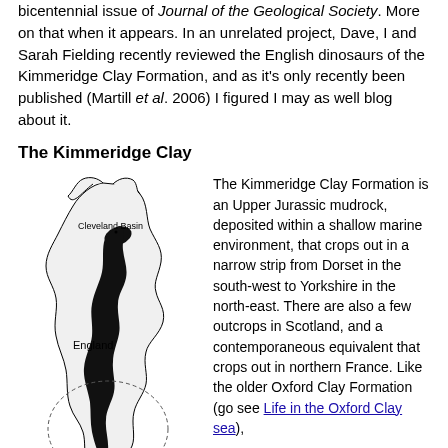bicentennial issue of Journal of the Geological Society. More on that when it appears. In an unrelated project, Dave, I and Sarah Fielding recently reviewed the English dinosaurs of the Kimmeridge Clay Formation, and as it's only recently been published (Martill et al. 2006) I figured I may as well blog about it.
The Kimmeridge Clay
[Figure (map): Map of England showing the outcrop of the Kimmeridge Clay Formation as a narrow black strip running from Dorset in the south-west to Yorkshire (Cleveland Basin) in the north-east. Labels: Cleveland Basin (north), England (centre), Dorset (south). Scale bar: 0 km 100.]
The Kimmeridge Clay Formation is an Upper Jurassic mudrock, deposited within a shallow marine environment, that crops out in a narrow strip from Dorset in the south-west to Yorkshire in the north-east. There are also a few outcrops in Scotland, and a contemporaneous equivalent that crops out in northern France. Like the older Oxford Clay Formation (go see Life in the Oxford Clay sea),